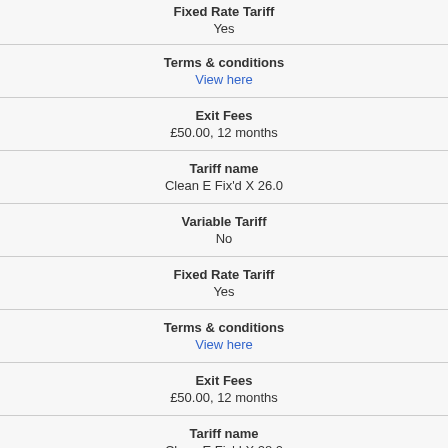Fixed Rate Tariff
Yes
Terms & conditions
View here
Exit Fees
£50.00, 12 months
Tariff name
Clean E Fix'd X 26.0
Variable Tariff
No
Fixed Rate Tariff
Yes
Terms & conditions
View here
Exit Fees
£50.00, 12 months
Tariff name
Clean E Fix'd X 28.0